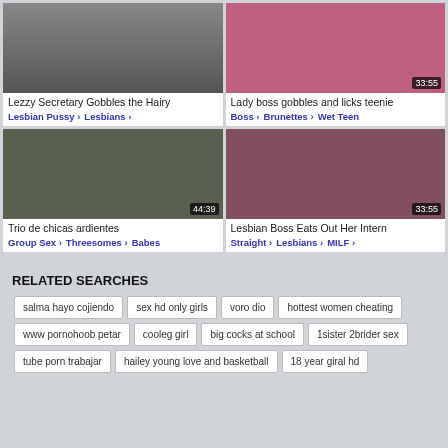[Figure (screenshot): Thumbnail: Lezzy Secretary Gobbles the Hairy]
Lezzy Secretary Gobbles the Hairy
Lesbian Pussy › Lesbians ›
[Figure (screenshot): Thumbnail: Lady boss gobbles and licks teenie, timer 33:55]
Lady boss gobbles and licks teenie
Boss › Brunettes › Wet Teen
[Figure (screenshot): Thumbnail: Trio de chicas ardientes, timer 44:39]
Trio de chicas ardientes
Group Sex › Threesomes › Babes
[Figure (screenshot): Thumbnail: Lesbian Boss Eats Out Her Intern, timer 33:55]
Lesbian Boss Eats Out Her Intern
Straight › Lesbians › MILF ›
RELATED SEARCHES
salma hayo cojiendo
sex hd only girls
voro dio
hottest women cheating
www pornohoob petar
cooleg girl
big cocks at school
1sister 2brider sex
tube porn trabajar
hailey young love and basketball
18 year giral hd